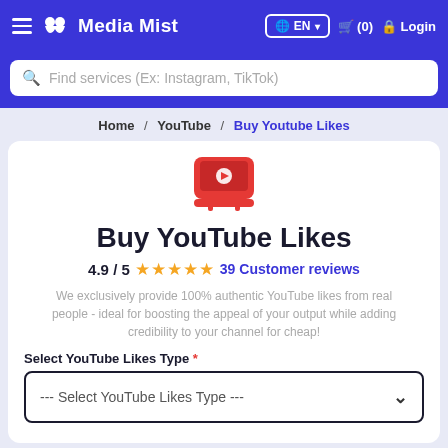Media Mist — EN (0) Login
Find services (Ex: Instagram, TikTok)
Home / YouTube / Buy Youtube Likes
[Figure (logo): YouTube-style red tablet/TV icon]
Buy YouTube Likes
4.9 / 5 ★★★★★ 39 Customer reviews
We exclusively provide 100% authentic YouTube likes from real people - ideal for boosting the appeal of your output while adding credibility to your channel for cheap!
Select YouTube Likes Type *
--- Select YouTube Likes Type ---